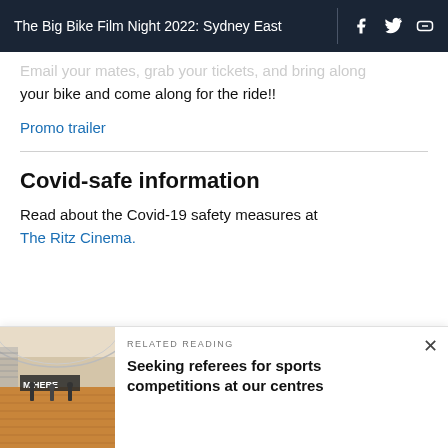The Big Bike Film Night 2022: Sydney East
Email your mates, grab your tickets, and bring along your bike and come along for the ride!!
Promo trailer
Covid-safe information
Read about the Covid-19 safety measures at The Ritz Cinema.
[Figure (photo): Indoor sports centre with wooden floor, people playing, banner saying 'I'M HERE']
RELATED READING
Seeking referees for sports competitions at our centres